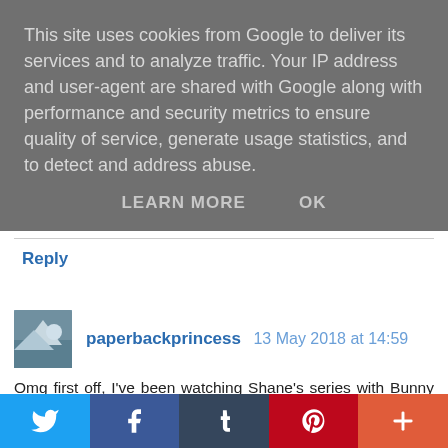This site uses cookies from Google to deliver its services and to analyze traffic. Your IP address and user-agent are shared with Google along with performance and security metrics to ensure quality of service, generate usage statistics, and to detect and address abuse.
LEARN MORE   OK
Reply
paperbackprincess  13 May 2018 at 14:59
Omg first off, I've been watching Shane's series with Bunny too and love it! I pretty much love all of Shane's videos lol. But I totally agree Cee! I even find for me personally, the way I present myself on my blog twitter account is completely different from how I present myself on my personal twitter account! On my personal, I hold back a lot
[Figure (infographic): Social share bar with Twitter, Facebook, Tumblr, Pinterest, and More buttons]